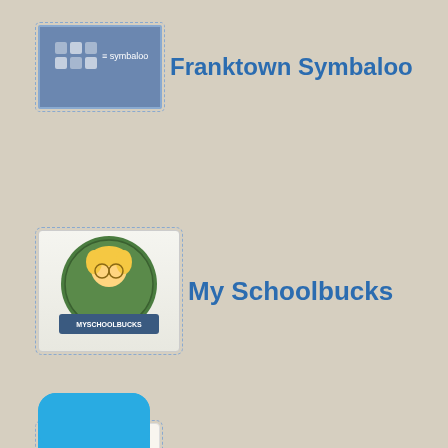[Figure (logo): Symbaloo logo icon - blue square with grid pattern and symbaloo text]
Franktown Symbaloo
[Figure (logo): MySchoolbucks logo icon - cartoon boy with glasses and MySchoolbucks banner]
My Schoolbucks
[Figure (illustration): Brown paper lunch bag with an apple - Hot Lunch Menu icon]
Hot Lunch Menu
[Figure (logo): Facebook thumbs up like icon with f logo]
Facebook
[Figure (logo): Twitter bird icon on light blue rounded square]
Twitter
[Figure (logo): Partial blue rounded icon at bottom of page]